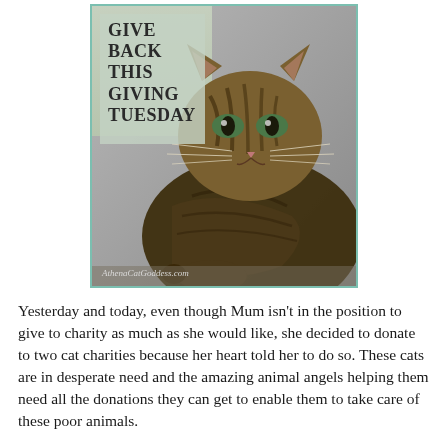[Figure (photo): A tabby cat with green eyes looking directly at the camera, posed against a muted background. In the upper left is text overlay reading 'GIVE BACK THIS GIVING TUESDAY' on a sage green background. Watermark reads 'AthenaCatGoddess.com'. The image is framed with a teal/mint border.]
Yesterday and today, even though Mum isn't in the position to give to charity as much as she would like, she decided to donate to two cat charities because her heart told her to do so. These cats are in desperate need and the amazing animal angels helping them need all the donations they can get to enable them to take care of these poor animals.